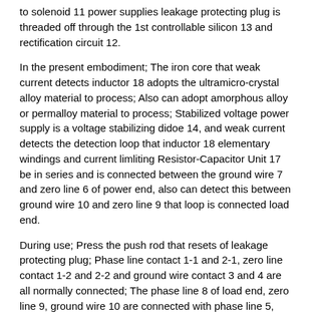to solenoid 11 power supplies leakage protecting plug is threaded off through the 1st controllable silicon 13 and rectification circuit 12.
In the present embodiment; The iron core that weak current detects inductor 18 adopts the ultramicro-crystal alloy material to process; Also can adopt amorphous alloy or permalloy material to process; Stabilized voltage power supply is a voltage stabilizing didoe 14, and weak current detects the detection loop that inductor 18 elementary windings and current limliting Resistor-Capacitor Unit 17 be in series and is connected between the ground wire 7 and zero line 6 of power end, also can detect this between ground wire 10 and zero line 9 that loop is connected load end.
During use; Press the push rod that resets of leakage protecting plug; Phase line contact 1-1 and 2-1, zero line contact 1-2 and 2-2 and ground wire contact 3 and 4 are all normally connected; The phase line 8 of load end, zero line 9, ground wire 10 are connected with phase line 5, zero line 6, the ground wire 7 of power end respectively; Ground wire 7 and 10 is because the effects of ground connection are